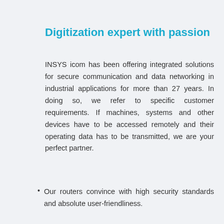Digitization expert with passion
INSYS icom has been offering integrated solutions for secure communication and data networking in industrial applications for more than 27 years. In doing so, we refer to specific customer requirements. If machines, systems and other devices have to be accessed remotely and their operating data has to be transmitted, we are your perfect partner.
Our routers convince with high security standards and absolute user-friendliness.